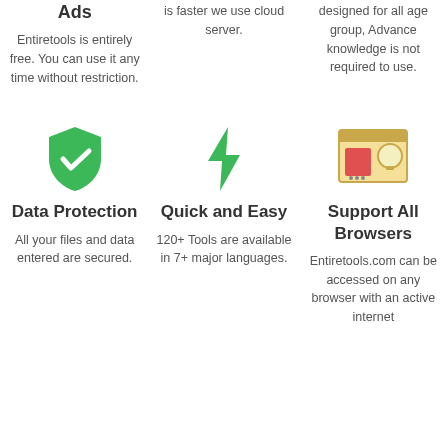Ads
Entiretools is entirely free. You can use it any time without restriction.
is faster we use cloud server.
designed for all age group, Advance knowledge is not required to use.
[Figure (illustration): Green shield with checkmark icon]
Data Protection
All your files and data entered are secured.
[Figure (illustration): Green lightning bolt icon]
Quick and Easy
120+ Tools are available in 7+ major languages.
[Figure (illustration): Browser/tools icon with magnifying glass]
Support All Browsers
Entiretools.com can be accessed on any browser with an active internet